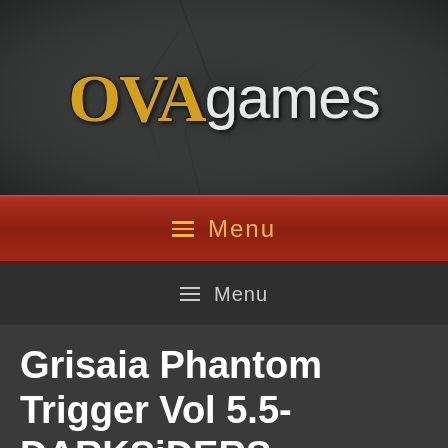[Figure (logo): OVA Games logo on dark cracked texture background. 'OVA' in gold/yellow serif font, 'games' in white/light sans-serif font.]
☰  Menu
☰  Menu
Grisaia Phantom Trigger Vol 5.5-DARKSiDERS
April 26, 2019 by OvaGames